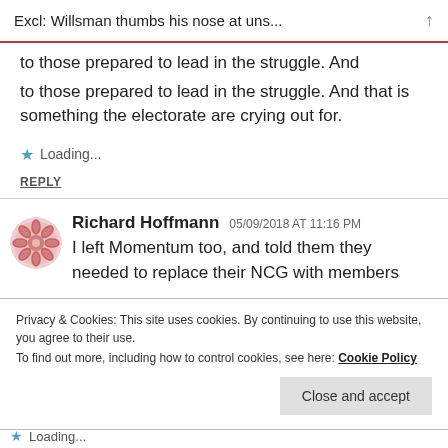Excl: Willsman thumbs his nose at uns...
to those prepared to lead in the struggle. And that is something the electorate are crying out for.
Loading...
REPLY
Richard Hoffmann  05/09/2018 AT 11:16 PM
I left Momentum too, and told them they needed to replace their NCG with members
Privacy & Cookies: This site uses cookies. By continuing to use this website, you agree to their use.
To find out more, including how to control cookies, see here: Cookie Policy
Close and accept
Loading...